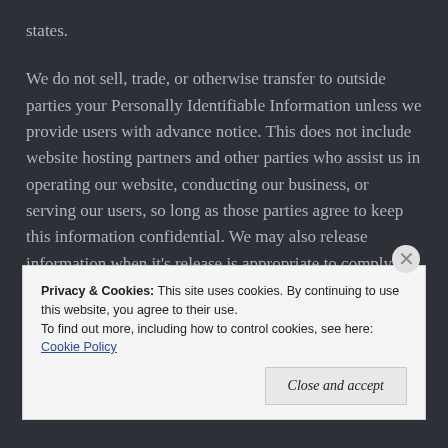states.
We do not sell, trade, or otherwise transfer to outside parties your Personally Identifiable Information unless we provide users with advance notice. This does not include website hosting partners and other parties who assist us in operating our website, conducting our business, or serving our users, so long as those parties agree to keep this information confidential. We may also release information when it's release is appropriate to comply with the law,
Privacy & Cookies: This site uses cookies. By continuing to use this website, you agree to their use. To find out more, including how to control cookies, see here: Cookie Policy
Close and accept